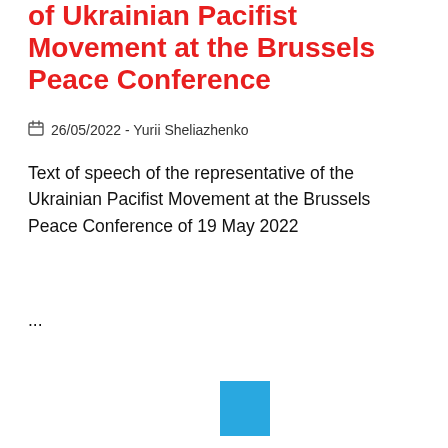of Ukrainian Pacifist Movement at the Brussels Peace Conference
26/05/2022 - Yurii Sheliazhenko
Text of speech of the representative of the Ukrainian Pacifist Movement at the Brussels Peace Conference of 19 May 2022
...
[Figure (other): A small solid cyan/blue square graphic element at the bottom center of the page]